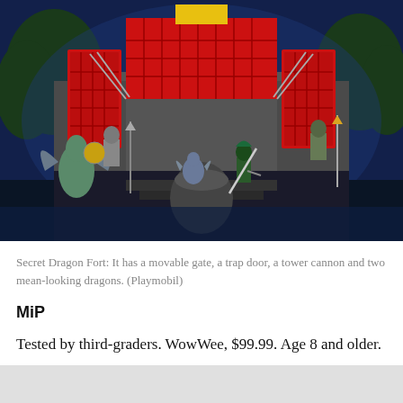[Figure (photo): Playmobil Secret Dragon Fort toy set displayed against a dark blue background, showing a castle with red gate, two dragon figures, and multiple knight/warrior figurines]
Secret Dragon Fort: It has a movable gate, a trap door, a tower cannon and two mean-looking dragons. (Playmobil)
MiP
Tested by third-graders. WowWee, $99.99. Age 8 and older.